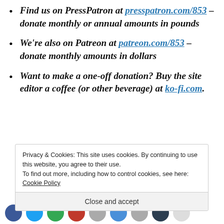Find us on PressPatron at presspatron.com/853 – donate monthly or annual amounts in pounds
We're also on Patreon at patreon.com/853 – donate monthly amounts in dollars
Want to make a one-off donation? Buy the site editor a coffee (or other beverage) at ko-fi.com.
Privacy & Cookies: This site uses cookies. By continuing to use this website, you agree to their use. To find out more, including how to control cookies, see here: Cookie Policy
Close and accept